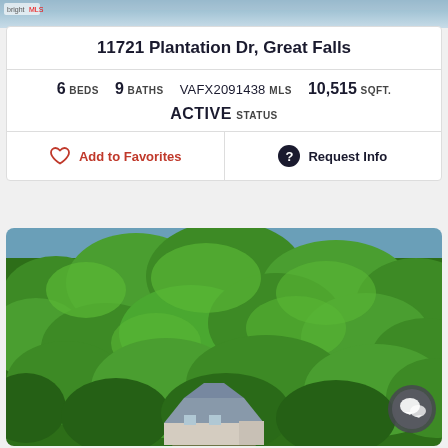[Figure (photo): Aerial/sky background photo at top of page]
11721 Plantation Dr, Great Falls
6 BEDS  9 BATHS  VAFX2091438 MLS  10,515 SQFT.  ACTIVE STATUS
Add to Favorites  Request Info
[Figure (photo): Aerial drone photo of a large wooded property with a house visible at the bottom, surrounded by dense green trees]